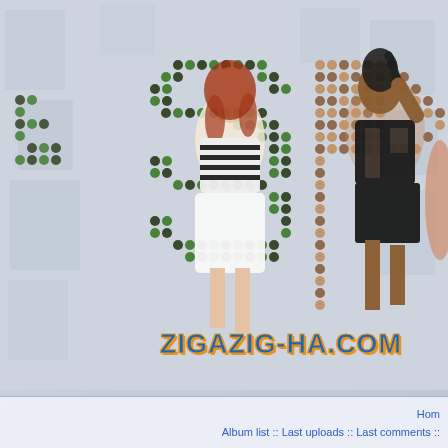[Figure (illustration): Spice Girls fan website banner with halftone dot-pattern letters 'SP' in dark navy/green/tan dots forming large block letters, with photos of two Spice Girls (Geri Halliwell in striped top and white skirt, Mel B in black cutout outfit) overlaid on the letters, against a light grey collage background of fan photos]
ZIGAZIG-HA.COM
Home :: Album list :: Last uploads :: Last comments ::